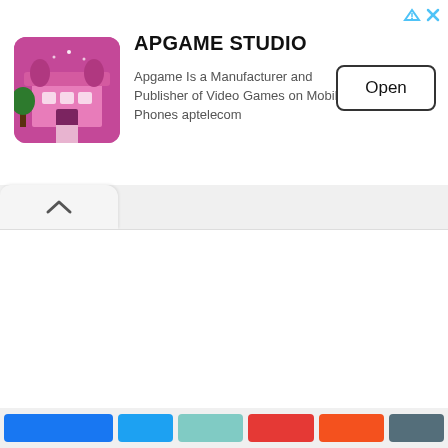[Figure (screenshot): Mobile advertisement banner for APGAME STUDIO showing app icon (colorful building illustration), app title, description text, and Open button with close/info icons in top right corner]
APGAME STUDIO
Apgame Is a Manufacturer and Publisher of Video Games on Mobile Phones aptelecom
[Figure (screenshot): Main browser/app content area below the ad banner showing a collapsed tab, largely white/blank content area, and social sharing buttons at the bottom]